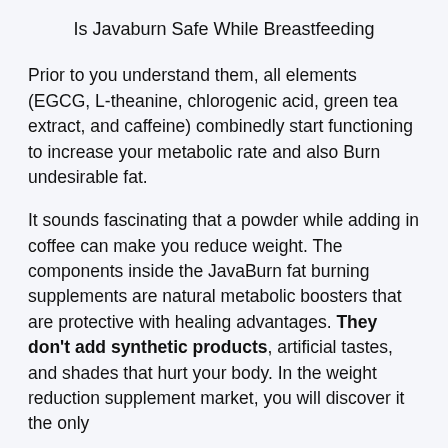Is Javaburn Safe While Breastfeeding
Prior to you understand them, all elements (EGCG, L-theanine, chlorogenic acid, green tea extract, and caffeine) combinedly start functioning to increase your metabolic rate and also Burn undesirable fat.
It sounds fascinating that a powder while adding in coffee can make you reduce weight. The components inside the JavaBurn fat burning supplements are natural metabolic boosters that are protective with healing advantages. They don't add synthetic products, artificial tastes, and shades that hurt your body. In the weight reduction supplement market, you will discover it the only